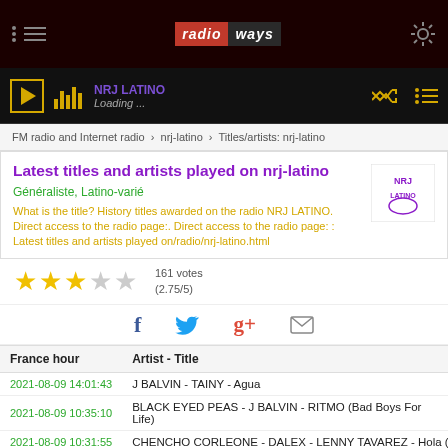RadioWays - NRJ LATINO - Loading...
FM radio and Internet radio > nrj-latino > Titles/artists: nrj-latino
Latest titles and artists played on nrj-latino
Généraliste, Latino-varié
What is the title? History titles awarded on the radio NRJ LATINO. Direct access to the radio page:. Direct access to the radio page: : Latest titles and artists played on/radio/nrj-latino.html
161 votes (2.75/5)
| France hour | Artist - Title |
| --- | --- |
| 2021-08-09 14:01:43 | J BALVIN - TAINY - Agua |
| 2021-08-09 10:35:10 | BLACK EYED PEAS - J BALVIN - RITMO (Bad Boys For Life) |
| 2021-08-09 10:31:55 | CHENCHO CORLEONE - DALEX - LENNY TAVAREZ - Hola (Rem |
| 2021-08-09 10:25:06 | RAUW ALEJANDRO - Todo De Ti |